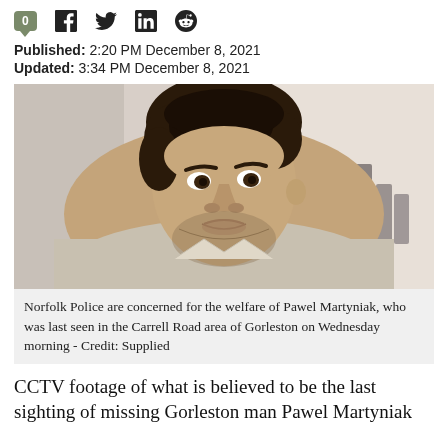Social share bar with comment count 0, Facebook, Twitter, LinkedIn, Reddit icons
Published: 2:20 PM December 8, 2021
Updated: 3:34 PM December 8, 2021
[Figure (photo): Portrait photo of Pawel Martyniak, a young man with dark curly hair and light beard, wearing a light-colored jacket, photographed indoors.]
Norfolk Police are concerned for the welfare of Pawel Martyniak, who was last seen in the Carrell Road area of Gorleston on Wednesday morning - Credit: Supplied
CCTV footage of what is believed to be the last sighting of missing Gorleston man Pawel Martyniak